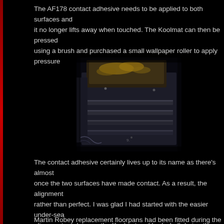The AF178 contact adhesive needs to be applied to both surfaces and left until it no longer lifts away when touched. The Koolmat can then be pressed using a brush and purchased a small wallpaper roller to apply pressu...
[Figure (photo): Interior view of a vehicle floor area showing metal floorpans with ribbed/corrugated sections, taken in low light conditions. The metal surface appears bare/unfinished with some debris visible.]
The contact adhesive certainly lives up to its name as there's almost once the two surfaces have made contact. As a result, the alignment rather than perfect. I was glad I had started with the easier under-sea alignment markers on the Koolmat and bodyshell during the trial fittin fitting, when you needed to get it right first time.
Martin Robey replacement floorpans had been fitted during the body...